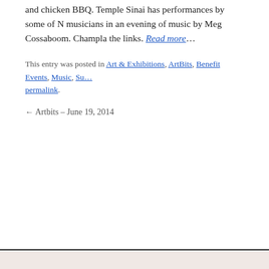and chicken BBQ. Temple Sinai has performances by some of N musicians in an evening of music by Meg Cossaboom. Champla the links. Read more…
This entry was posted in Art & Exhibitions, ArtBits, Benefit Events, Music, Su… permalink.
← Artbits – June 19, 2014
Open ArtBits